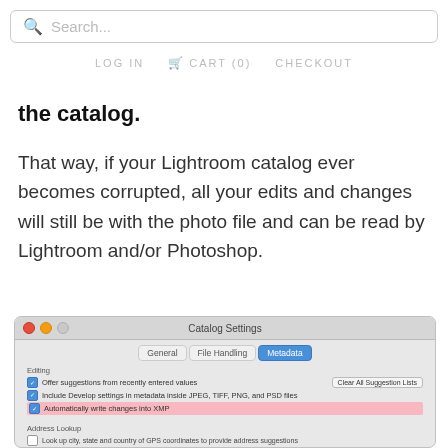Search...  LOG IN  CART (0)  CHECKOUT
the catalog.
That way, if your Lightroom catalog ever becomes corrupted, all your edits and changes will still be with the photo file and can be read by Lightroom and/or Photoshop.
[Figure (screenshot): Mac OS dialog box showing Lightroom Catalog Settings window with Metadata tab selected. Shows Editing section with checkboxes for 'Offer suggestions from recently entered values', 'Include Develop settings in metadata inside JPEG, TIFF, PNG, and PSD files', and 'Automatically write changes into XMP' (highlighted in pink). Also shows Address Lookup and Face Detection sections.]